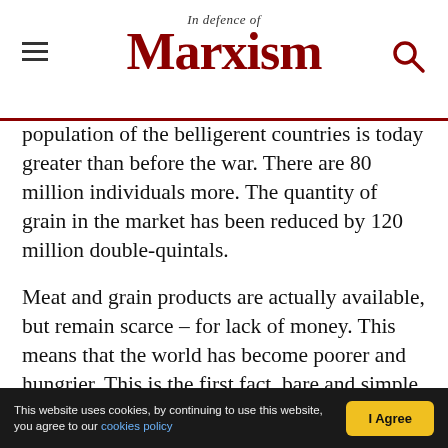In Defence of Marxism
population of the belligerent countries is today greater than before the war. There are 80 million individuals more. The quantity of grain in the market has been reduced by 120 million double-quintals.
Meat and grain products are actually available, but remain scarce – for lack of money. This means that the world has become poorer and hungrier. This is the first fact, bare and simple.
If we analyze the world's coal consumption, we shall find almost the same picture, but in even
This website uses cookies, by continuing to use this website, you agree to our cookies policy | I Agree